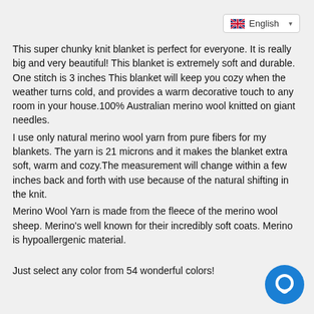English
This super chunky knit blanket is perfect for everyone. It is really big and very beautiful! This blanket is extremely soft and durable. One stitch is 3 inches This blanket will keep you cozy when the weather turns cold, and provides a warm decorative touch to any room in your house.100% Australian merino wool knitted on giant needles.
I use only natural merino wool yarn from pure fibers for my blankets. The yarn is 21 microns and it makes the blanket extra soft, warm and cozy.The measurement will change within a few inches back and forth with use because of the natural shifting in the knit.
Merino Wool Yarn is made from the fleece of the merino wool sheep. Merino's well known for their incredibly soft coats. Merino is hypoallergenic material.

Just select any color from 54 wonderful colors!